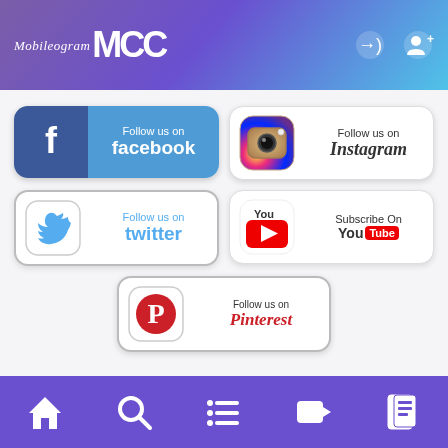Mobileogram MCC header with login and register icons
[Figure (infographic): Follow us on Facebook button with Facebook logo]
[Figure (infographic): Follow us on Instagram button with Instagram logo]
[Figure (infographic): Follow us on Twitter button with Twitter bird logo]
[Figure (infographic): Subscribe On YouTube button with YouTube logo]
[Figure (infographic): Follow us on Pinterest button with Pinterest logo]
[Figure (infographic): Facebook and Instagram footer icons]
Copyright © 2019 Mobileogram. All rights reserved
Navigation bar with home, search, list, video, and news icons